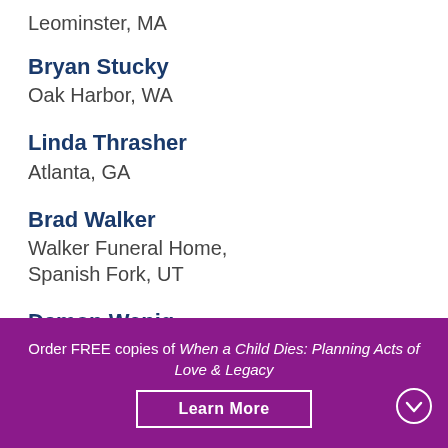Leominster, MA
Bryan Stucky
Oak Harbor, WA
Linda Thrasher
Atlanta, GA
Brad Walker
Walker Funeral Home, Spanish Fork, UT
Damon Wenig
Sheboygan Falls, WI
Order FREE copies of When a Child Dies: Planning Acts of Love & Legacy
Learn More